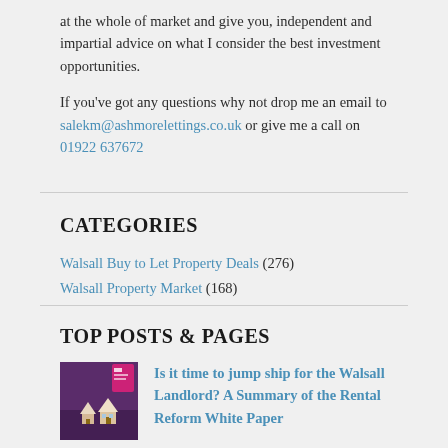at the whole of market and give you, independent and impartial advice on what I consider the best investment opportunities.

If you've got any questions why not drop me an email to salekm@ashmorelettings.co.uk or give me a call on 01922 637672
CATEGORIES
Walsall Buy to Let Property Deals (276)
Walsall Property Market (168)
TOP POSTS & PAGES
[Figure (photo): Small thumbnail image showing house figurines on a table with purple/dark background]
Is it time to jump ship for the Walsall Landlord? A Summary of the Rental Reform White Paper